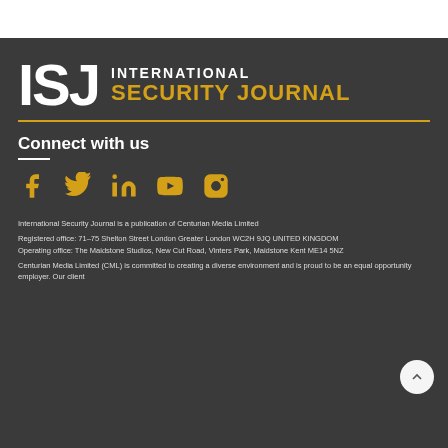[Figure (logo): ISJ International Security Journal logo — large white bold ISJ letters with INTERNATIONAL in white and SECURITY JOURNAL in gold/amber on dark background]
Connect with us
[Figure (infographic): Social media icons in gold: Facebook, Twitter, LinkedIn, YouTube, Instagram]
International Security Journal is a publication of Centurian Media Limited
Registered office: 71–75 Shelton Street London Greater London WC2H 9JQ UNITED KINGDOM
Operating office: The Maidstone Studios, New Cut Road, Vinters Park, Maidstone Kent ME14 5NZ
Centurian Media Limited (CML) is committed to creating a diverse environment and is proud to be an equal opportunity employer. Our client